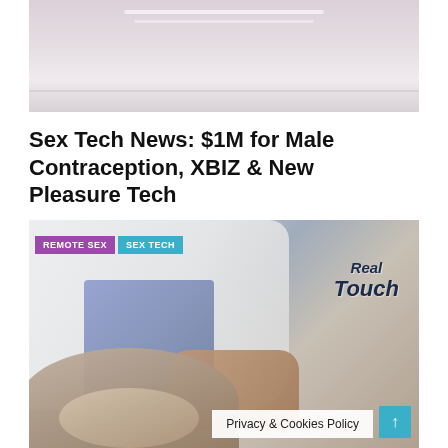[Figure (photo): Close-up photo of liquid being poured, light pinkish/beige background]
Sex Tech News: $1M for Male Contraception, XBIZ & New Pleasure Tech
[Figure (photo): Person in white lab coat holding a RealTouch device, with category tags REMOTE SEX and SEX TECH overlaid, and a Privacy & Cookies Policy banner at the bottom]